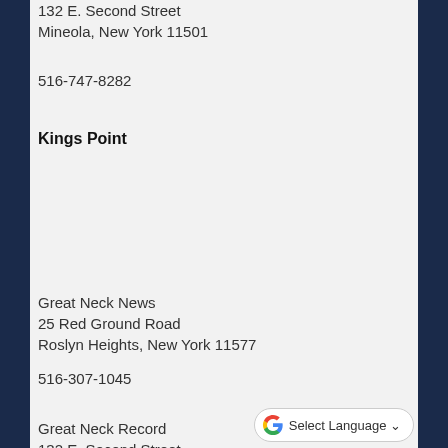132 E. Second Street
Mineola, New York 11501
516-747-8282
Kings Point
Great Neck News
25 Red Ground Road
Roslyn Heights, New York 11577
516-307-1045
Great Neck Record
132 E. Second Street
Mineola, New York 11051
516-747-8282